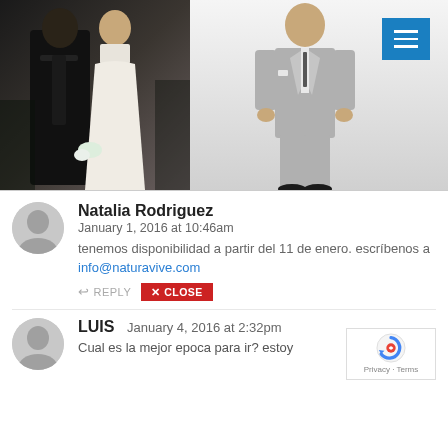[Figure (photo): Two-panel photo: left panel shows a couple at a wedding, man in black tuxedo and woman in white lace dress; right panel shows a man in a light grey suit standing against a white background. Blue hamburger menu button in top right corner.]
Natalia Rodriguez
January 1, 2016 at 10:46am
tenemos disponibilidad a partir del 11 de enero. escríbenos a info@naturavive.com
LUIS   January 4, 2016 at 2:32pm
Cual es la mejor epoca para ir? estoy